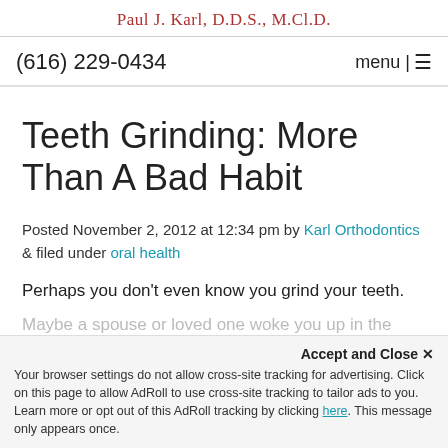Paul J. Karl, D.D.S., M.Cl.D.
(616) 229-0434   menu |≡
Teeth Grinding: More Than A Bad Habit
Posted November 2, 2012 at 12:34 pm by Karl Orthodontics & filed under oral health
Perhaps you don't even know you grind your teeth. Maybe a spouse or loved one woke you up in the
Accept and Close ✕
Your browser settings do not allow cross-site tracking for advertising. Click on this page to allow AdRoll to use cross-site tracking to tailor ads to you. Learn more or opt out of this AdRoll tracking by clicking here. This message only appears once.